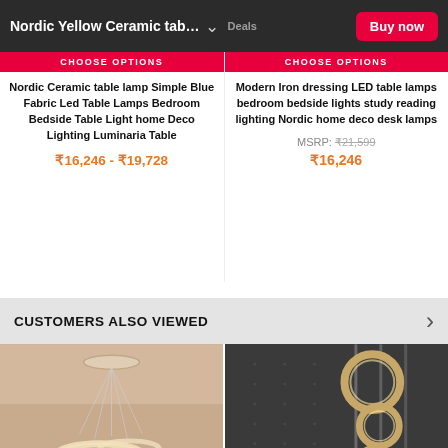Nordic Yellow Ceramic tab… ˅  Buy now
CHOOSE OPTIONS
CHOOSE OPTIONS
Nordic Ceramic table lamp Simple Blue Fabric Led Table Lamps Bedroom Bedside Table Light home Deco Lighting Luminaria Table
₹16,246 - ₹19,728
Modern Iron dressing LED table lamps bedroom bedside lights study reading lighting Nordic home deco desk lamps
MSRP: ₹21,599
₹16,246
CUSTOMERS ALSO VIEWED
[Figure (photo): White circular chandelier with ring light design hanging from ceiling, warm lighting.]
[Figure (photo): Modern pendant lights with gold ring circles on dark gray wall background.]